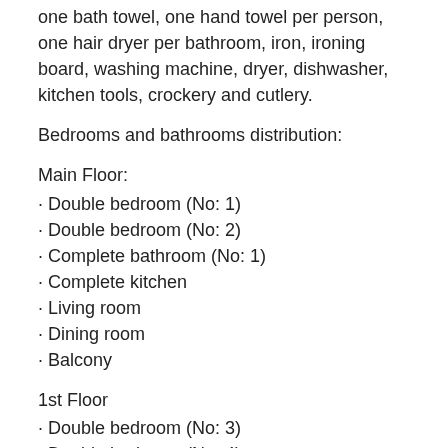one bath towel, one hand towel per person, one hair dryer per bathroom, iron, ironing board, washing machine, dryer, dishwasher, kitchen tools, crockery and cutlery.
Bedrooms and bathrooms distribution:
Main Floor:
· Double bedroom (No: 1)
· Double bedroom (No: 2)
· Complete bathroom (No: 1)
· Complete kitchen
· Living room
· Dining room
· Balcony
1st Floor
· Double bedroom (No: 3)
· Double bedroom (No: 4)
· Double bedroom (No: 5)
· Complete bathroom (No: 2)